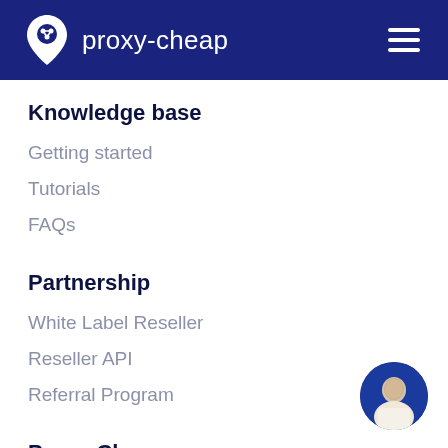proxy-cheap
Knowledge base
Getting started
Tutorials
FAQs
Partnership
White Label Reseller
Reseller API
Referral Program
Proxy-Cheap
[Figure (photo): Circular avatar of a person in a dark blue background, positioned bottom-right]